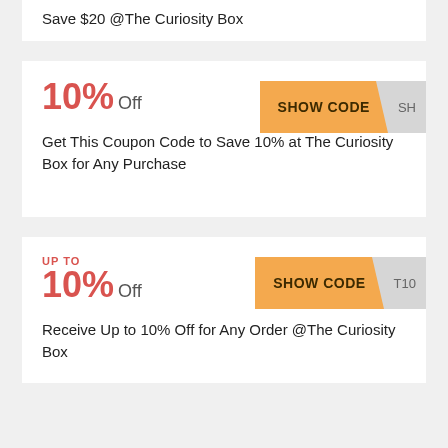Save $20 @The Curiosity Box
10% Off
SHOW CODE SH
Get This Coupon Code to Save 10% at The Curiosity Box for Any Purchase
UP TO
10% Off
SHOW CODE T10
Receive Up to 10% Off for Any Order @The Curiosity Box